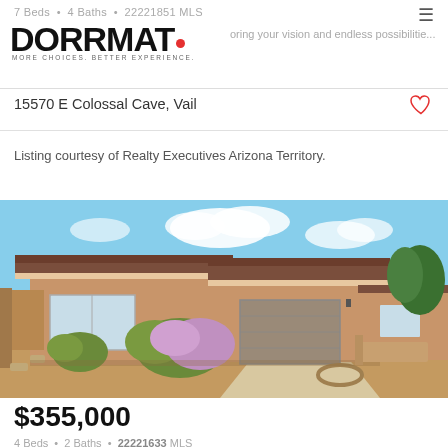7 Beds · 4 Baths · 22221851 MLS
[Figure (logo): DORRMAT logo with red dot, tagline MORE CHOICES. BETTER EXPERIENCE.]
Refreshing your vision and endless possibilitie...
15570 E Colossal Cave, Vail
Listing courtesy of Realty Executives Arizona Territory.
[Figure (photo): Exterior photo of a single-story stucco home with desert landscaping, purple flowering shrubs, gravel yard, and attached garage. Blue sky with clouds in background.]
$355,000
4 Beds  · 2 Baths  · 22221633 MLS